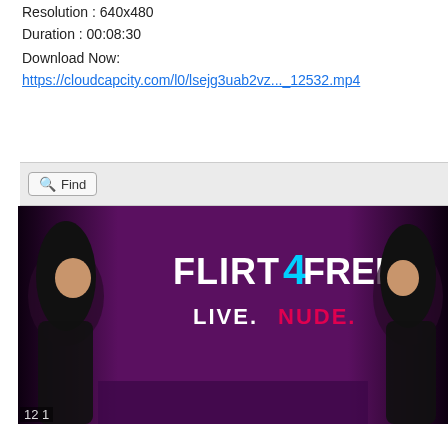Resolution : 640x480
Duration : 00:08:30
Download Now:
https://cloudcapcity.com/l0/lsejg3uab2vz..._12532.mp4
[Figure (screenshot): Find bar with magnifying glass icon and 'Find' label on a light gray background]
[Figure (photo): Advertisement banner for Flirt4Free showing 'LIVE. NUDE.' text with a woman posing, purple/dark background, logo repeated on right side]
12 1